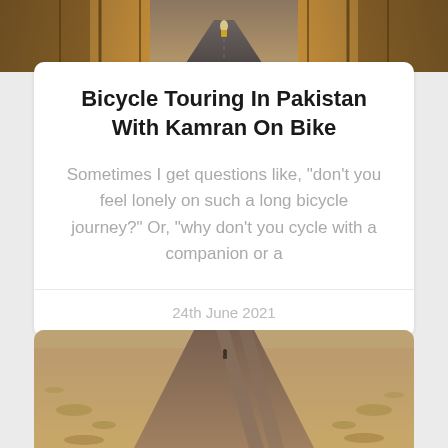[Figure (photo): Top portion of a bicycle touring photo showing a lone cyclist on a road lined with autumn-colored trees]
Bicycle Touring In Pakistan With Kamran On Bike
Sometimes I get questions like, “don’t you feel lonely on such a long bicycle journey?” Or, “why don’t you cycle with a companion or a
24th June 2021
[Figure (photo): Bottom photo showing a dusty desert road stretching into the distance with sparse scrubland on both sides and a small figure of a cyclist]